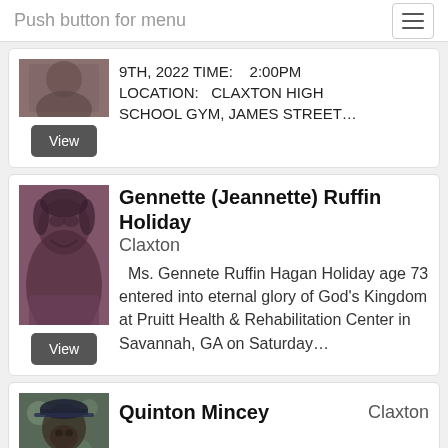Push button for menu
9TH, 2022 TIME:   2:00PM LOCATION:   CLAXTON HIGH SCHOOL GYM, JAMES STREET...
[Figure (photo): Portrait photo of Gennette Ruffin Holiday, a woman with short hair, sepia/purple toned]
Gennette (Jeannette) Ruffin Holiday
Claxton
Ms. Gennete Ruffin Hagan Holiday age 73 entered into eternal glory of God's Kingdom at Pruitt Health & Rehabilitation Center in Savannah, GA on Saturday...
[Figure (photo): Portrait photo of Quinton Mincey, a man wearing a cap outdoors]
Quinton Mincey
Claxton